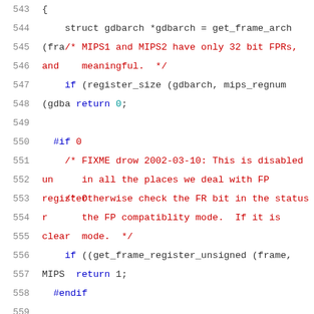[Figure (screenshot): Source code viewer showing lines 543-564 of a C file. Line numbers on the left, syntax highlighting with red for comments and preprocessor directives, blue for keywords, teal for hex values. Code relates to MIPS floating point register handling in GDB.]